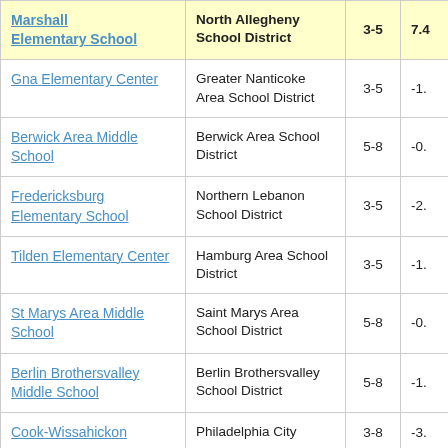| School | District | Grades | Value |
| --- | --- | --- | --- |
| Marshall Elementary School | North Allegheny School District | 3-5 | 7.4... |
| Gna Elementary Center | Greater Nanticoke Area School District | 3-5 | -1.... |
| Berwick Area Middle School | Berwick Area School District | 5-8 | -0.... |
| Fredericksburg Elementary School | Northern Lebanon School District | 3-5 | -2.... |
| Tilden Elementary Center | Hamburg Area School District | 3-5 | -1.... |
| St Marys Area Middle School | Saint Marys Area School District | 5-8 | -0.... |
| Berlin Brothersvalley Middle School | Berlin Brothersvalley School District | 5-8 | -1.... |
| Cook-Wissahickon | Philadelphia City | 3-8 | -3... |